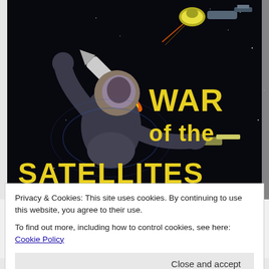[Figure (illustration): Movie poster for 'War of the Satellites' showing an astronaut in a spacesuit floating in space with a rocket and satellites, bold yellow text reading 'WAR of the SATELLITES' on a dark space background]
Privacy & Cookies: This site uses cookies. By continuing to use this website, you agree to their use.
To find out more, including how to control cookies, see here: Cookie Policy
Close and accept
LAWRENCE LOUIS GOLDMAN · JACK RARIN and IRVING BLOCK | IRVING BLOCK and JACK RARIN · ALLIED ARTISTS PICTURE